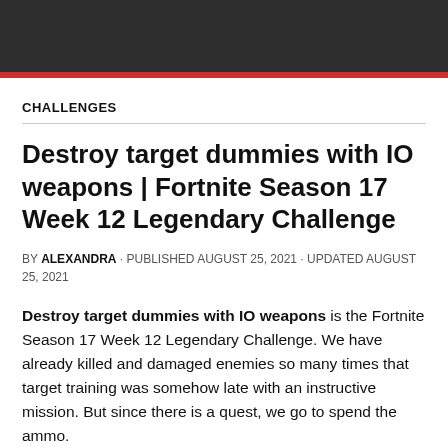CHALLENGES
Destroy target dummies with IO weapons | Fortnite Season 17 Week 12 Legendary Challenge
BY ALEXANDRA · PUBLISHED AUGUST 25, 2021 · UPDATED AUGUST 25, 2021
Destroy target dummies with IO weapons is the Fortnite Season 17 Week 12 Legendary Challenge. We have already killed and damaged enemies so many times that target training was somehow late with an instructive mission. But since there is a quest, we go to spend the ammo.
Read more: Peacemaker in Fortnite soon